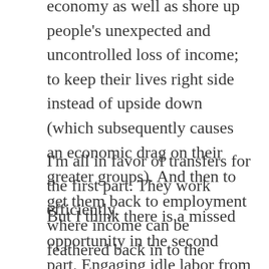economy as well as shore up people's unexpected and uncontrolled loss of income; to keep their lives right side instead of upside down (which subsequently causes an economic drag on their greater groups). And then to get them back to employment where income can be feathered back in to the economic apparatus.
I'm all in favor of transfers for the first part. They work efficiently.
But I think there is a missed opportunity in the second part. Engaging idle labor from folks who are not destitute nor in need of transfers is low hanging fruit. As explained in this post about The Crafter The Contributor and The Covid Tracker, there are high skilled individuals available to